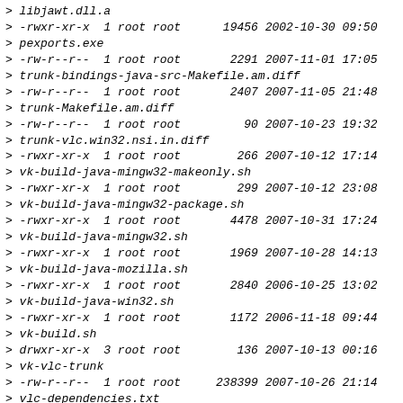> libjawt.dll.a
> -rwxr-xr-x  1 root root      19456 2002-10-30 09:50
> pexports.exe
> -rw-r--r--  1 root root       2291 2007-11-01 17:05
> trunk-bindings-java-src-Makefile.am.diff
> -rw-r--r--  1 root root       2407 2007-11-05 21:48
> trunk-Makefile.am.diff
> -rw-r--r--  1 root root         90 2007-10-23 19:32
> trunk-vlc.win32.nsi.in.diff
> -rwxr-xr-x  1 root root        266 2007-10-12 17:14
> vk-build-java-mingw32-makeonly.sh
> -rwxr-xr-x  1 root root        299 2007-10-12 23:08
> vk-build-java-mingw32-package.sh
> -rwxr-xr-x  1 root root       4478 2007-10-31 17:24
> vk-build-java-mingw32.sh
> -rwxr-xr-x  1 root root       1969 2007-10-28 14:13
> vk-build-java-mozilla.sh
> -rwxr-xr-x  1 root root       2840 2006-10-25 13:02
> vk-build-java-win32.sh
> -rwxr-xr-x  1 root root       1172 2006-11-18 09:44
> vk-build.sh
> drwxr-xr-x  3 root root        136 2007-10-13 00:16
> vk-vlc-trunk
> -rw-r--r--  1 root root     238399 2007-10-26 21:14
> vlc-dependencies.txt
> drwxr-xr-x 18 root root       1280 2007-11-05 21:47
> vlc-trunk
> drwxr-xr-x 23 root root       2056 2007-11-05 22:09
> vlc-trunk-linux
> drwxr-xr-x 23 root root       2120 2007-11-05 22:37